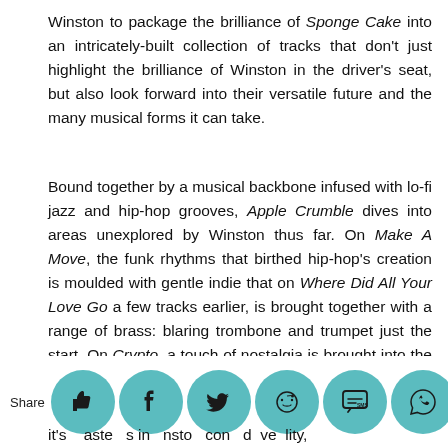Winston to package the brilliance of Sponge Cake into an intricately-built collection of tracks that don't just highlight the brilliance of Winston in the driver's seat, but also look forward into their versatile future and the many musical forms it can take.
Bound together by a musical backbone infused with lo-fi jazz and hip-hop grooves, Apple Crumble dives into areas unexplored by Winston thus far. On Make A Move, the funk rhythms that birthed hip-hop's creation is moulded with gentle indie that on Where Did All Your Love Go a few tracks earlier, is brought together with a range of brass: blaring trombone and trumpet just the start. On Crypto, a touch of nostalgia is brought into the mix via dancing jazz keys lifted out the pages of yesteryear, while on the album-opening Need You, this nostalgic sense is instead interpreted through a nod to 20s hop
it's aste s in nsto con d ve lity,